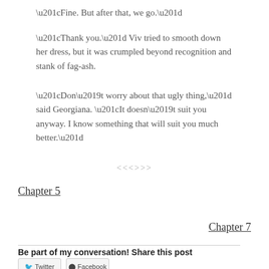“Fine. But after that, we go.”
“Thank you.” Viv tried to smooth down her dress, but it was crumpled beyond recognition and stank of fag-ash.
“Don’t worry about that ugly thing,” said Georgiana. “It doesn’t suit you anyway. I know something that will suit you much better.”
<<<>>>
Chapter 5
Chapter 7
Be part of my conversation! Share this post